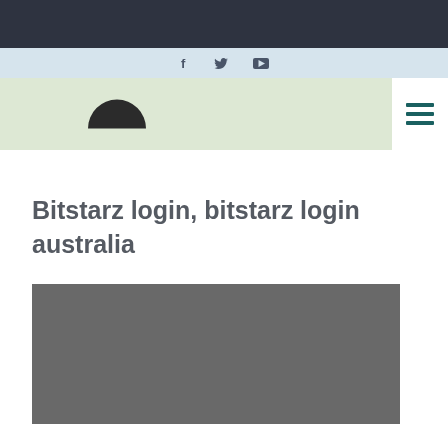[Figure (screenshot): Dark top navigation bar]
[Figure (screenshot): Light blue social media bar with Facebook, Twitter, and YouTube icons]
[Figure (screenshot): Light green navigation bar with logo dome shape and hamburger menu button]
Bitstarz login, bitstarz login australia
[Figure (photo): Dark gray image placeholder below the title]